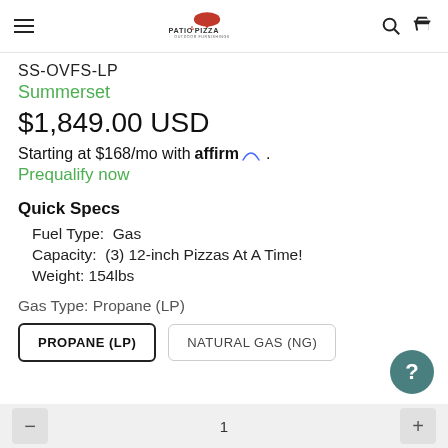Patio & Pizza Outdoor Furnishings
SS-OVFS-LP
Summerset
$1,849.00 USD
Starting at $168/mo with affirm. Prequalify now
Quick Specs
Fuel Type:  Gas
Capacity:  (3) 12-inch Pizzas At A Time!
Weight: 154lbs
Gas Type: Propane (LP)
PROPANE (LP)   NATURAL GAS (NG)